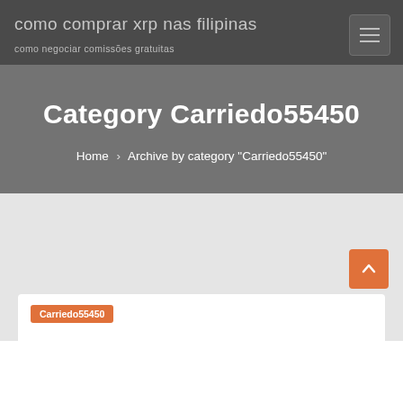como comprar xrp nas filipinas
como negociar comissões gratuitas
Category Carriedo55450
Home › Archive by category "Carriedo55450"
Carriedo55450